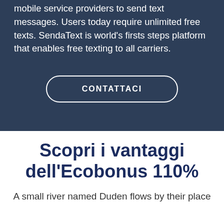mobile service providers to send text messages. Users today require unlimited free texts. SendaText is world's firsts steps platform that enables free texting to all carriers.
CONTATTACI
Scopri i vantaggi dell'Ecobonus 110%
A small river named Duden flows by their place